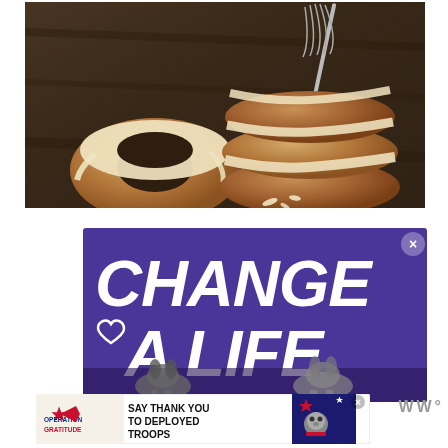[Figure (photo): Glazed donuts with white/cream frosting on a dark wooden surface. One donut flat on left, three stacked on right with glaze dripping between layers. A whisk visible in background.]
[Figure (infographic): Purple advertisement banner reading 'CHANGE A LIFE' in large bold white italic text with a small heart outline on the left. Animal silhouettes at the bottom. X close button in upper right.]
[Figure (infographic): Bottom banner ad for Operation Gratitude: 'SAY THANK YOU TO DEPLOYED TROOPS' with patriotic logo on left and cartoon mascot on right. X close button.]